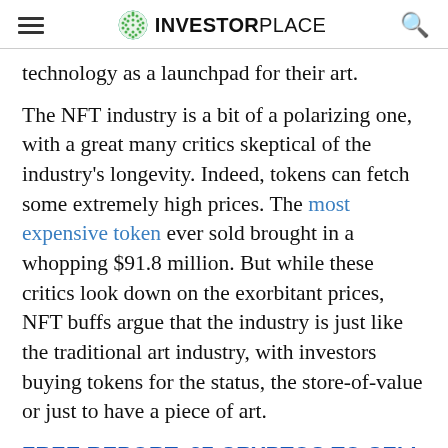INVESTORPLACE
technology as a launchpad for their art.
The NFT industry is a bit of a polarizing one, with a great many critics skeptical of the industry's longevity. Indeed, tokens can fetch some extremely high prices. The most expensive token ever sold brought in a whopping $91.8 million. But while these critics look down on the exorbitant prices, NFT buffs argue that the industry is just like the traditional art industry, with investors buying tokens for the status, the store-of-value or just to have a piece of art.
FREE REPORT: 27 CRYPTOS TO SELL